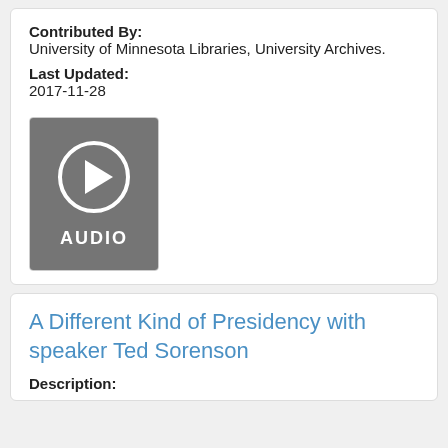Contributed By: University of Minnesota Libraries, University Archives.
Last Updated: 2017-11-28
[Figure (illustration): Gray square thumbnail with a circular play button icon and the word AUDIO in white text below it, representing an audio recording.]
A Different Kind of Presidency with speaker Ted Sorenson
Description: